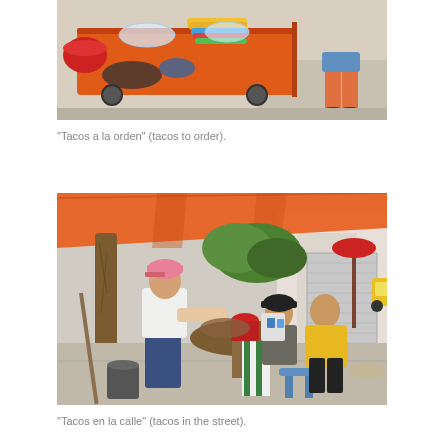[Figure (photo): A street food cart painted orange, loaded with colorful plastic plates and bags of goods. A customer stands to the right wearing orange top and shorts.]
“Tacos a la orden” (tacos to order).
[Figure (photo): A street taco stall under an orange canopy tarp. A woman in white shirt and jeans prepares food at a round table, while two other people (one in black cap, one in yellow shirt) sit on stools and eat. A yellow car is visible in the background street.]
“Tacos en la calle” (tacos in the street).